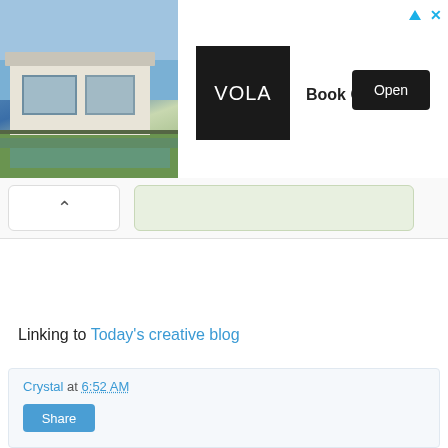[Figure (screenshot): Advertisement banner showing a modern house photo on the left, VOLA logo (black square) in center, 'Book Online' text and black 'Open' button on the right, with ad icons (triangle and X) in top-right corner]
[Figure (screenshot): UI collapse/chevron-up button on left and a green-tinted search/input box on the right]
Linking to Today's creative blog
Crystal at 6:52 AM
Share